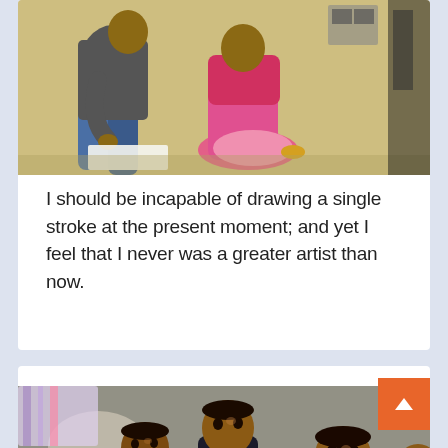[Figure (photo): An adult kneeling/sitting on the ground helping a child in a pink outfit with schoolwork, against a yellow wall background. A partial second photo is visible on the right edge.]
I should be incapable of drawing a single stroke at the present moment; and yet I feel that I never was a greater artist than now.
[Figure (photo): Group of children sitting on the ground outdoors, looking up at the camera, with bags and papers around them.]